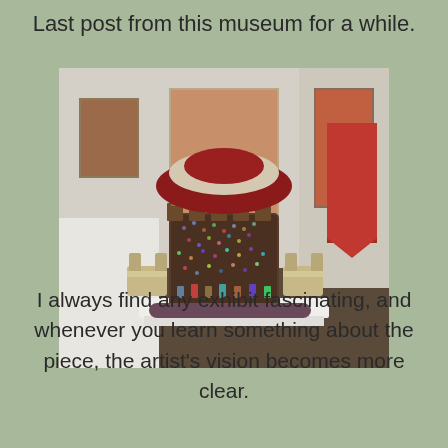Last post from this museum for a while.
[Figure (photo): A museum gallery photo showing an elaborate sculptural artwork resembling a small building or temple structure covered in colorful mosaic-like material, with a draped red and white dome top, flanked by two stone-like chairs, with small hourglass-like figures arranged around it. Museum walls with framed artworks visible in the background.]
I always find any exhibit fascinating, and whenever you learn something about the piece, the artist's vision becomes more clear.